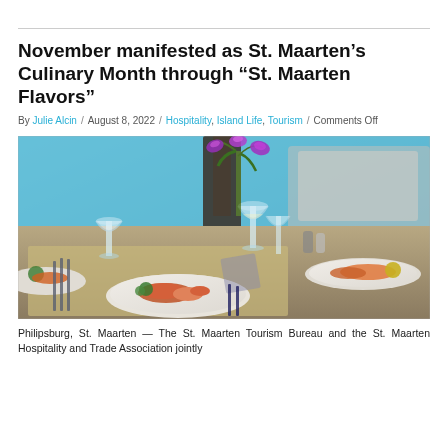November manifested as St. Maarten’s Culinary Month through “St. Maarten Flavors”
By Julie Alcin / August 8, 2022 / Hospitality, Island Life, Tourism / Comments Off
[Figure (photo): A restaurant dining table set with plates of food including shrimp and salmon, wine glasses, and a purple orchid flower arrangement, with a blurred waterfront background.]
Philipsburg, St. Maarten — The St. Maarten Tourism Bureau and the St. Maarten Hospitality and Trade Association jointly